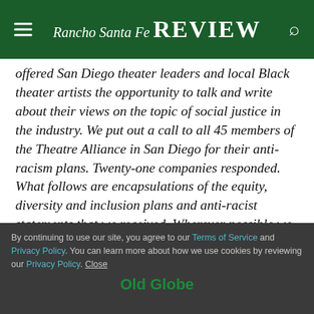Rancho Santa Fe Review
offered San Diego theater leaders and local Black theater artists the opportunity to talk and write about their views on the topic of social justice in the industry. We put out a call to all 45 members of the Theatre Alliance in San Diego for their anti-racism plans. Twenty-one companies responded. What follows are encapsulations of the equity, diversity and inclusion plans and anti-racist statements that we received. Wherever possible we are including a web link where readers can go online to read the complete documents.
By continuing to use our site, you agree to our Terms of Service and Privacy Policy. You can learn more about how we use cookies by reviewing our Privacy Policy. Close
Old Globe